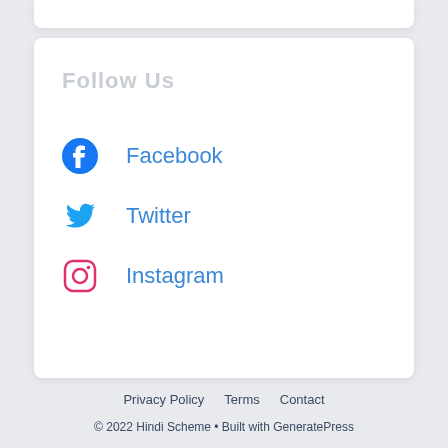Follow Us
Facebook
Twitter
Instagram
Privacy Policy   Terms   Contact
© 2022 Hindi Scheme • Built with GeneratePress